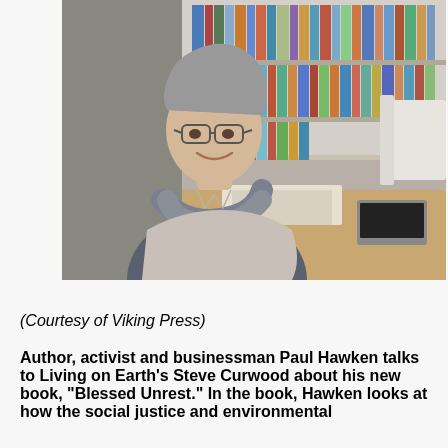[Figure (photo): A middle-aged man with gray hair and glasses, smiling and sitting with arms crossed at a wooden table in front of a bookshelf filled with books.]
(Courtesy of Viking Press)
Author, activist and businessman Paul Hawken talks to Living on Earth's Steve Curwood about his new book, "Blessed Unrest." In the book, Hawken looks at how the social justice and environmental